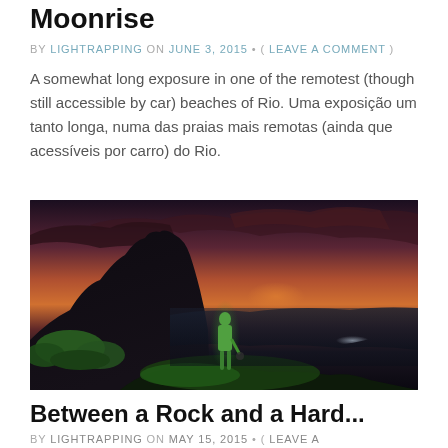Moonrise
BY LIGHTRAPPING ON JUNE 3, 2015 • ( LEAVE A COMMENT )
A somewhat long exposure in one of the remotest (though still accessible by car) beaches of Rio. Uma exposição um tanto longa, numa das praias mais remotas (ainda que acessíveis por carro) do Rio.
[Figure (photo): Long exposure night/twilight photo of a green-lit figure standing on a coastal rock in Rio, with dramatic orange-purple sunset sky and dark mountains in the background.]
Between a Rock and a Hard...
BY LIGHTRAPPING ON MAY 15, 2015 • ( LEAVE A COMMENT )